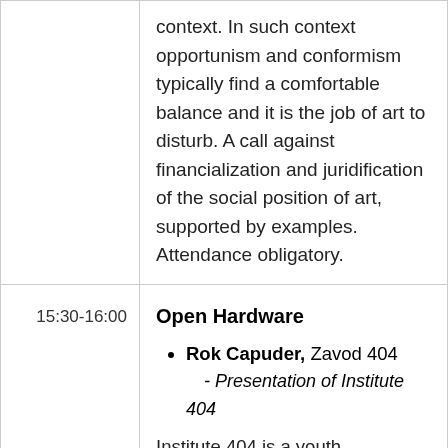context. In such context opportunism and conformism typically find a comfortable balance and it is the job of art to disturb. A call against financialization and juridification of the social position of art, supported by examples. Attendance obligatory.
15:30-16:00
Open Hardware
Rok Capuder, Zavod 404 - Presentation of Institute 404
Institute 404 is a youth technology center, which encourages young people to discover, create and innovate. We offer means and a space where they can freely explore, make and enjoy. They learn by doing, experiencing and solving intriguing